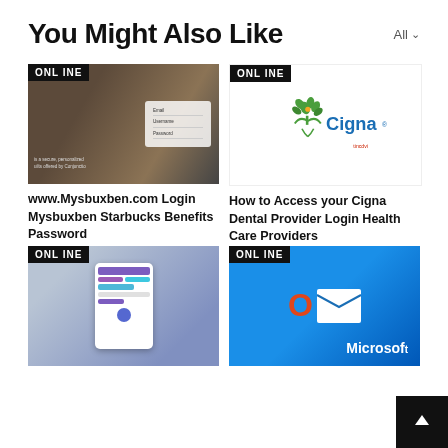You Might Also Like
All
[Figure (screenshot): Screenshot of Starbucks Mysbuxben login page with a woman smiling in background. ONLINE badge in top-left corner.]
www.Mysbuxben.com Login Mysbuxben Starbucks Benefits Password
[Figure (logo): Cigna logo with green tree and orange figure icon, with ONLINE badge in top-left corner and tincdvi label.]
How to Access your Cigna Dental Provider Login Health Care Providers
[Figure (screenshot): Mobile app screenshot showing a balance/banking app interface. ONLINE badge in top-left corner.]
[Figure (screenshot): Microsoft Outlook logo/screenshot with blue background. ONLINE badge and Microsoft text visible. ONLINE badge in top-left corner.]